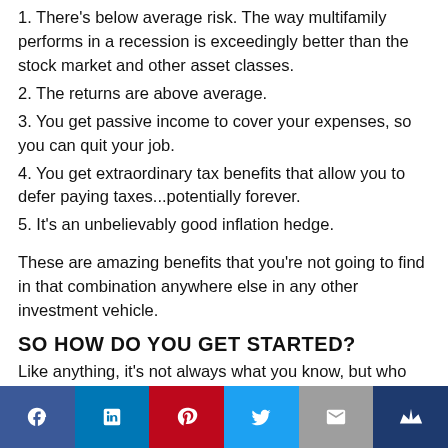1. There's below average risk. The way multifamily performs in a recession is exceedingly better than the stock market and other asset classes.
2. The returns are above average.
3. You get passive income to cover your expenses, so you can quit your job.
4. You get extraordinary tax benefits that allow you to defer paying taxes...potentially forever.
5. It's an unbelievably good inflation hedge.
These are amazing benefits that you're not going to find in that combination anywhere else in any other investment vehicle.
SO HOW DO YOU GET STARTED?
Like anything, it's not always what you know, but who